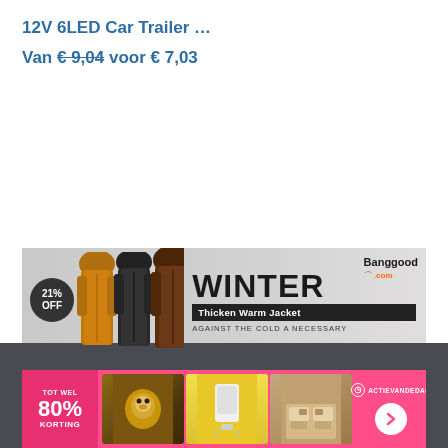12V 6LED Car Trailer …
Van € 9,04 voor € 7,03
[Figure (infographic): Banggood advertisement banner: 21% OFF winter Thicken Warm Jacket, showing three jackets (orange, black, brown) with text 'WINTER Thicken Warm Jacket AGAINST THE COLD A NECESSARY' and Banggood.com logo]
[Figure (infographic): Actievandedag promotional banner: pink background with '80% KORTING' badge, images of a lion, a white device, a bedroom, and 'ACTIEVANDEDAG' text with arrow button]